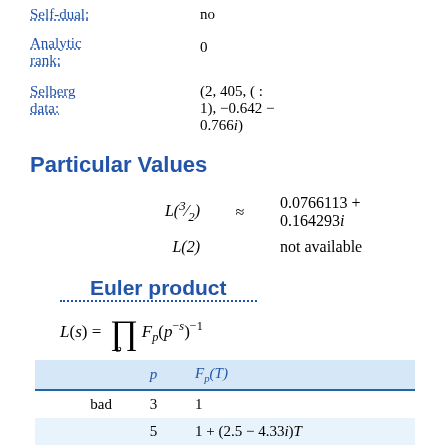|  |  |  |
| --- | --- | --- |
| Self-dual: |  | no |
| Analytic rank: |  | 0 |
| Selberg data: |  | (2, 405, ( : 1), −0.642 − 0.766i) |
Particular Values
Euler product
|  | p | F_p(T) |
| --- | --- | --- |
| bad | 3 | 1 |
|  | 5 | 1 + (2.5 − 4.33i)T |
| good | 2 | 1 + (0.5 + 0.866i)T + |